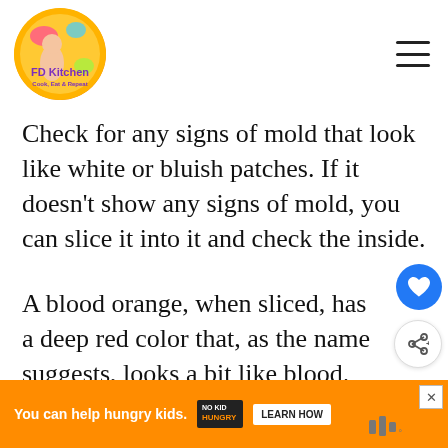FD Kitchen - Cook, Eat & Repeat
Check for any signs of mold that look like white or bluish patches. If it doesn't show any signs of mold, you can slice it into it and check the inside.
A blood orange, when sliced, has a deep red color that, as the name suggests, looks a bit like blood. Check around the seeds when you're inspecting for ripeness versus rottenness.
[Figure (other): Ad banner: orange background with text 'You can help hungry kids.' followed by No Kid Hungry logo and a 'LEARN HOW' button. Close (X) button in upper right corner.]